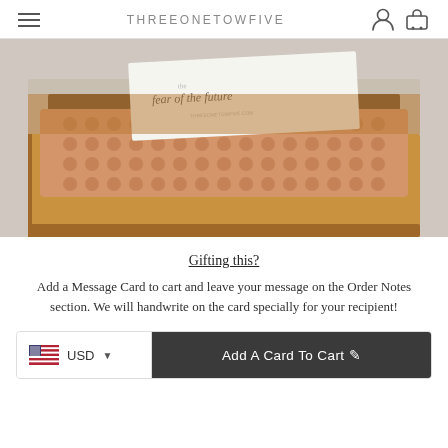THREEONETOWFIVE
[Figure (photo): An open brown cardboard shipping box containing a bubble-wrapped item and a white card that reads 'fear of the future', placed on a light gray surface.]
Gifting this?
Add a Message Card to cart and leave your message on the Order Notes section. We will handwrite on the card specially for your recipient!
USD  Add A Card To Cart